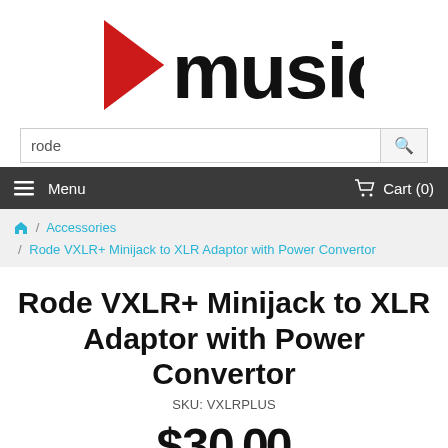[Figure (logo): Musiclab logo: red play-button triangle on left, bold black text 'musiclab' on right]
rode
Menu    Cart (0)
Home / Accessories / Rode VXLR+ Minijack to XLR Adaptor with Power Convertor
Rode VXLR+ Minijack to XLR Adaptor with Power Convertor
SKU: VXLRPLUS
$30.00